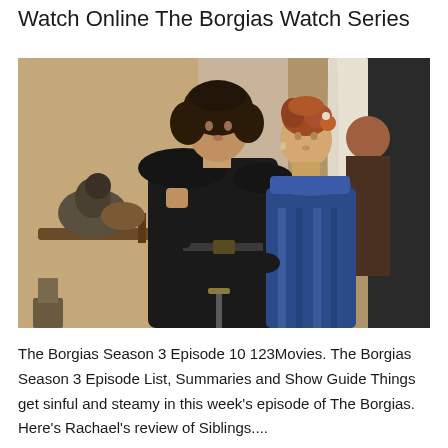Watch Online The Borgias Watch Series
[Figure (photo): Two actors in period costume from The Borgias TV series. A man with long curly dark hair wearing a black cape holds a falcon on a gloved hand. A woman with red braided hair in a blue striped Renaissance dress stands beside him looking at the bird.]
The Borgias Season 3 Episode 10 123Movies. The Borgias Season 3 Episode List, Summaries and Show Guide Things get sinful and steamy in this week's episode of The Borgias. Here's Rachael's review of Siblings....